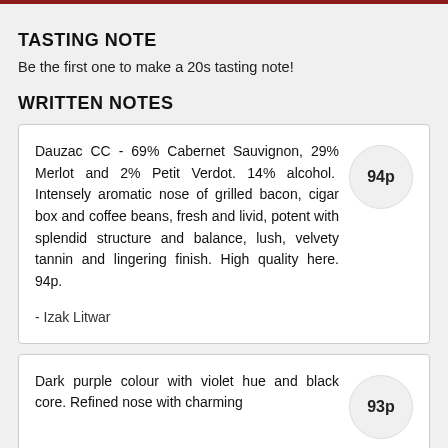TASTING NOTE
Be the first one to make a 20s tasting note!
WRITTEN NOTES
Dauzac CC - 69% Cabernet Sauvignon, 29% Merlot and 2% Petit Verdot. 14% alcohol. Intensely aromatic nose of grilled bacon, cigar box and coffee beans, fresh and livid, potent with splendid structure and balance, lush, velvety tannin and lingering finish. High quality here. 94p.

- Izak Litwar
Dark purple colour with violet hue and black core. Refined nose with charming